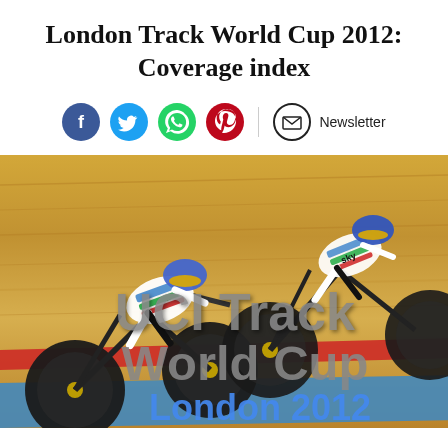London Track World Cup 2012: Coverage index
[Figure (infographic): Social sharing icons row: Facebook (blue circle), Twitter (blue circle), WhatsApp (green circle), Pinterest (red circle), divider, Newsletter envelope icon with label 'Newsletter']
[Figure (photo): Two track cyclists in Team Sky kits and rainbow-striped helmets racing on a velodrome, leaning into the curve. Overlaid text reads 'UCI Track World Cup London 2012' in large bold grey letters with the London line in blue.]